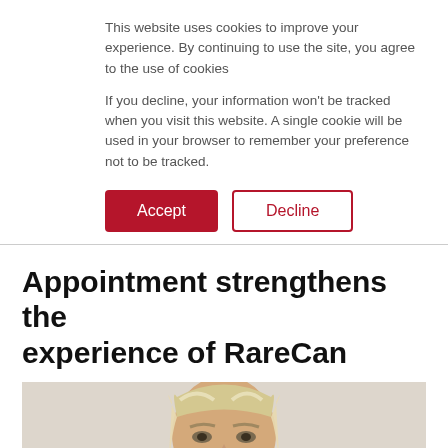This website uses cookies to improve your experience. By continuing to use the site, you agree to the use of cookies
If you decline, your information won't be tracked when you visit this website. A single cookie will be used in your browser to remember your preference not to be tracked.
Accept
Decline
Appointment strengthens the experience of RareCan
[Figure (photo): Portrait photo of a woman with long blonde and white hair against a light background, visible from shoulders up]